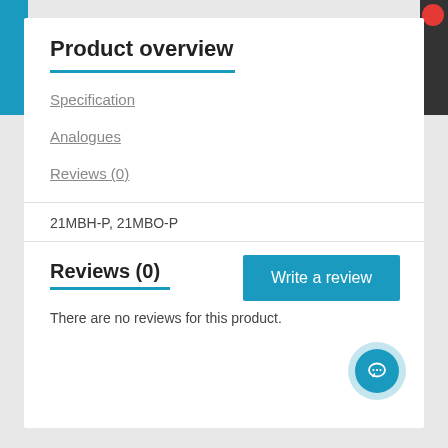Product overview
Specification
Analogues
Reviews (0)
21MBH-P, 21MBO-P
Reviews (0)
There are no reviews for this product.